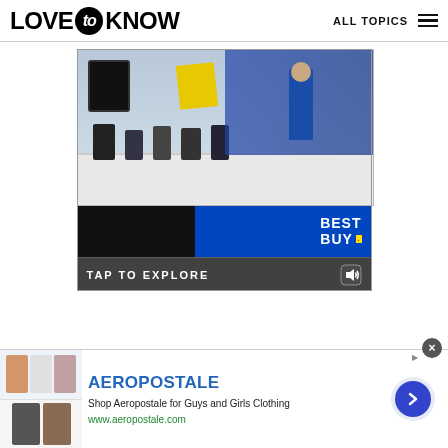LOVE to KNOW   ALL TOPICS
[Figure (screenshot): Best Buy electronics store interior showing tablets and smartphones on display tables with a blue-shirted employee in the background. A yellow price tag hangs prominently. Lower portion shows dark background with peeling page reveal animation showing Best Buy logo and 'TAP TO EXPLORE' button with speaker icon.]
[Figure (screenshot): Aeropostale advertisement banner showing clothing items on left with brand name AEROPOSTALE in blue, tagline 'Shop Aeropostale for Guys and Girls Clothing', website www.aeropostale.com in green, and a blue arrow circle on right. Close button (X) in grey circle at top right.]